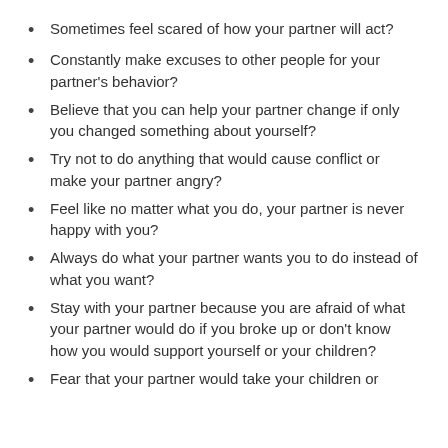Sometimes feel scared of how your partner will act?
Constantly make excuses to other people for your partner's behavior?
Believe that you can help your partner change if only you changed something about yourself?
Try not to do anything that would cause conflict or make your partner angry?
Feel like no matter what you do, your partner is never happy with you?
Always do what your partner wants you to do instead of what you want?
Stay with your partner because you are afraid of what your partner would do if you broke up or don't know how you would support yourself or your children?
Fear that your partner would take your children or